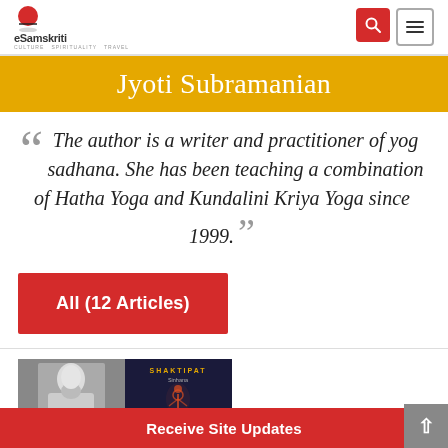eSamskriti – CULTURE SPIRITUALITY TRAVEL
Jyoti Subramanian
The author is a writer and practitioner of yog sadhana. She has been teaching a combination of Hatha Yoga and Kundalini Kriya Yoga since 1999.
All (12 Articles)
[Figure (photo): Two-panel article thumbnail: left panel shows a black-and-white photo of a bearded sage/yogi; right panel shows a dark background with the word SHAKTIPAT in gold and a glowing human silhouette figure.]
Receive Site Updates